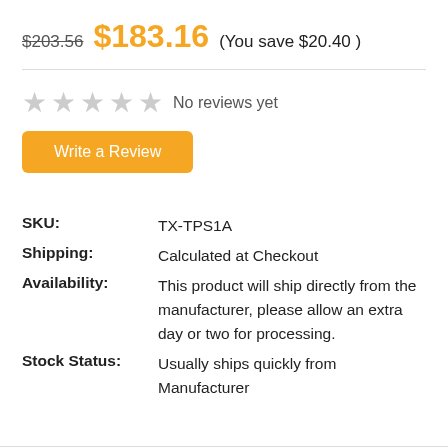$203.56  $183.16  (You save $20.40 )
[Figure (other): Five empty star rating icons followed by 'No reviews yet' text]
Write a Review
| SKU: | TX-TPS1A |
| Shipping: | Calculated at Checkout |
| Availability: | This product will ship directly from the manufacturer, please allow an extra day or two for processing. |
| Stock Status: | Usually ships quickly from Manufacturer |